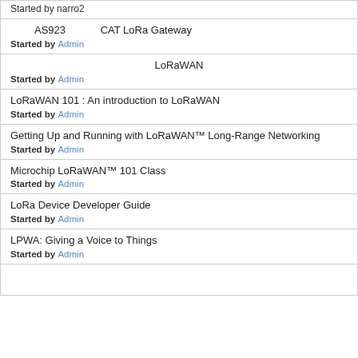Started by narro2
AS923  CAT LoRa Gateway
Started by Admin
LoRaWAN
Started by Admin
LoRaWAN 101 : An introduction to LoRaWAN
Started by Admin
Getting Up and Running with LoRaWAN™ Long-Range Networking
Started by Admin
Microchip LoRaWAN™ 101 Class
Started by Admin
LoRa Device Developer Guide
Started by Admin
LPWA: Giving a Voice to Things
Started by Admin